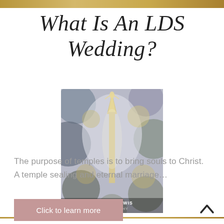What Is An LDS Wedding?
[Figure (photo): Blurred bokeh photograph of an LDS temple spire with soft purple and gold tones, watermarked 'WHITNEY LEWIS PHOTOGRAPHY']
The purpose of temples is to bring souls to Christ. A temple sealing and eternal marriage...
Click to learn more